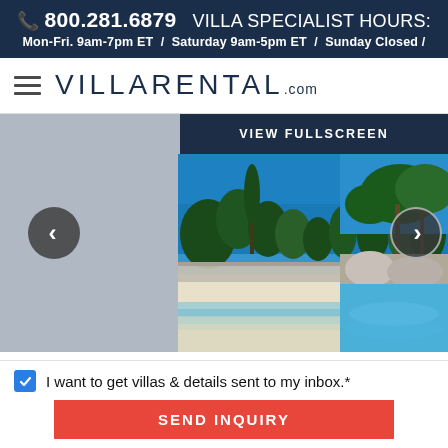📞 800.281.6879  VILLA SPECIALIST HOURS:
Mon-Fri. 9am-7pm ET / Saturday 9am-5pm ET / Sunday Closed /
[Figure (logo): VillaRental.com logo with hamburger menu icon]
[Figure (photo): Beach scene with white sand, clear turquoise water, palm trees and stone wall under bright blue sky — with VIEW FULLSCREEN button overlay, left navigation arrow (<) and right navigation arrow (>)]
SEVEN SEAS ON THE
I want to get villas & details sent to my inbox.*
SEND INQUIRY